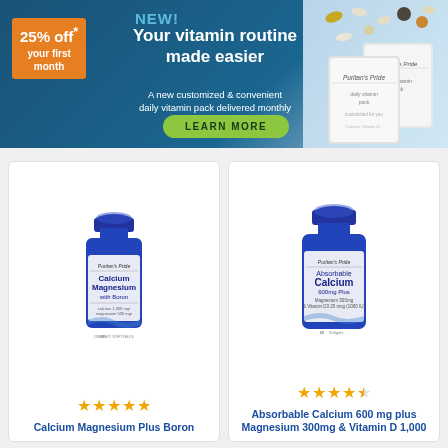[Figure (infographic): Puritan's Pride promotional banner: NEW! Your vitamin routine made easier. A new customized & convenient daily vitamin pack delivered monthly. LEARN MORE button. 25% off your first month badge. Daily vitamin packets shown on right.]
[Figure (photo): Puritan's Pride Calcium Magnesium with Boron supplement bottle, blue, 90 softgels]
★★★★★
Calcium Magnesium Plus Boron
[Figure (photo): Puritan's Pride Absorbable Calcium 600mg Plus Magnesium 300mg & Vitamin D 1,000 supplement bottle, blue, 60 softgels]
★★★★☆
Absorbable Calcium 600 mg plus Magnesium 300mg & Vitamin D 1,000